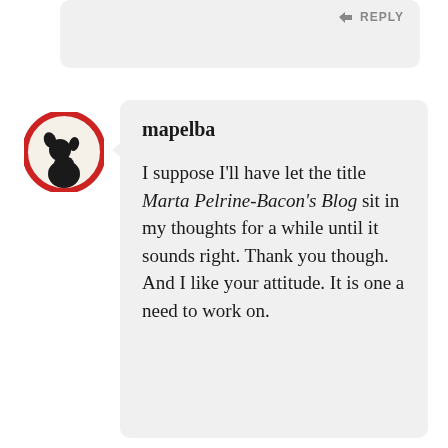[Figure (screenshot): Partial gray comment bubble at top of page with a REPLY button in the upper right]
[Figure (illustration): Circular avatar with red border showing a black silhouette illustration of a person with plants]
mapelba
I suppose I'll have let the title Marta Pelrine-Bacon's Blog sit in my thoughts for a while until it sounds right. Thank you though. And I like your attitude. It is one a need to work on.